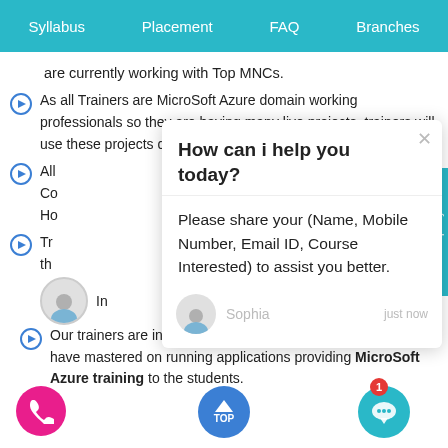Syllabus | Placement | FAQ | Branches
are currently working with Top MNCs.
As all Trainers are MicroSoft Azure domain working professionals so they are having many live projects, trainers will use these projects during training se
All Co Ho
Tr th li
[Figure (screenshot): Chat popup with 'How can i help you today?' header, message asking user to share Name, Mobile Number, Email ID, Course Interested to assist better. Signed by Sophia, just now.]
Our trainers are industry-experts and subject specialists who have mastered on running applications providing MicroSoft Azure training to the students.